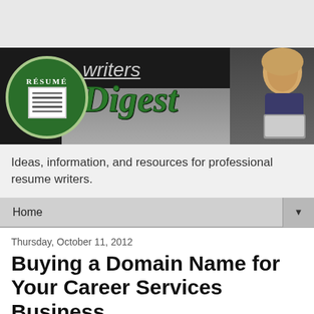[Figure (logo): Resume Writers Digest banner logo with circular green badge, 'writers Digest' text, laptop keyboard background, and woman holding laptop on right side]
Ideas, information, and resources for professional resume writers.
Home
Thursday, October 11, 2012
Buying a Domain Name for Your Career Services Business
While many resume writers have a website already, there are some folks thinking about starting a career services business who haven't even picked out a business name yet.